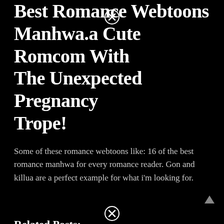Best Romance Webtoons Manhwa.a Cute Romcom With The Unexpected Pregnancy Trope!
Some of these romance webtoons like: 16 of the best romance manhwa for every romance reader. Gon and killua are a perfect example for what i'm looking for.
Related Posts:
Best Romance Anime On Funimation 2022
Best Lgbt Movies On Amazon Prime
Best Vr Games Oculus
Best Deep Pocket Sheets For Adjustable Beds
Best Naruto Games On Roblox